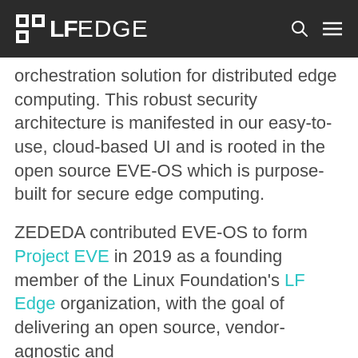LF EDGE
orchestration solution for distributed edge computing. This robust security architecture is manifested in our easy-to-use, cloud-based UI and is rooted in the open source EVE-OS which is purpose-built for secure edge computing.
ZEDEDA contributed EVE-OS to form Project EVE in 2019 as a founding member of the Linux Foundation's LF Edge organization, with the goal of delivering an open source, vendor-agnostic and standardized foundation for